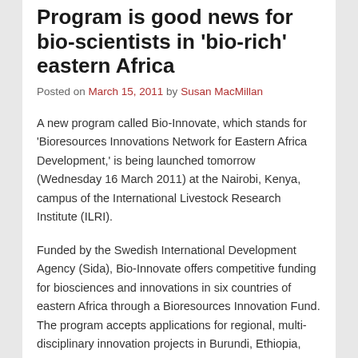Program is good news for bio-scientists in 'bio-rich' eastern Africa
Posted on March 15, 2011 by Susan MacMillan
A new program called Bio-Innovate, which stands for 'Bioresources Innovations Network for Eastern Africa Development,' is being launched tomorrow (Wednesday 16 March 2011) at the Nairobi, Kenya, campus of the International Livestock Research Institute (ILRI).
Funded by the Swedish International Development Agency (Sida), Bio-Innovate offers competitive funding for biosciences and innovations in six countries of eastern Africa through a Bioresources Innovation Fund. The program accepts applications for regional, multi-disciplinary innovation projects in Burundi, Ethiopia, Kenya, Rwanda, Tanzania and Uganda.
More than 80 people—including scientists, policymakers, development practitioners and staff from various...